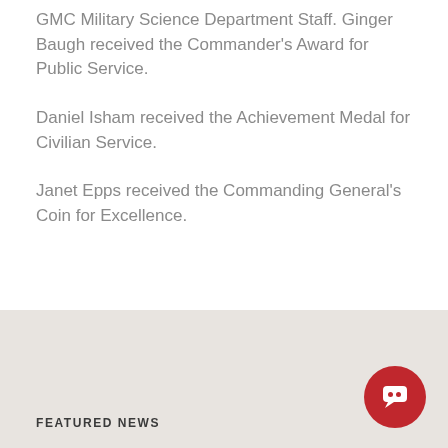GMC Military Science Department Staff. Ginger Baugh received the Commander’s Award for Public Service.
Daniel Isham received the Achievement Medal for Civilian Service.
Janet Epps received the Commanding General’s Coin for Excellence.
FEATURED NEWS
[Figure (other): Red circular chat/support button icon in bottom right corner]